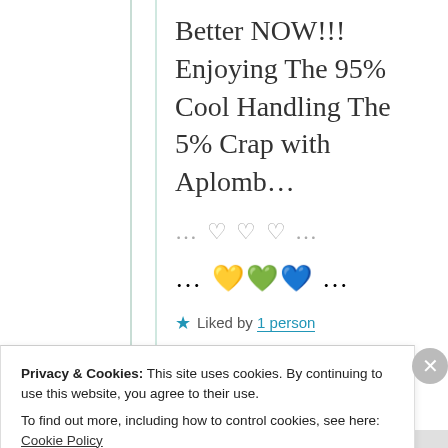Better NOW!!! Enjoying The 95% Cool Handling The 5% Crap with Aplomb…
… ♡ ♡ ♡ …
… 💛💚💙 …
★ Liked by 1 person
Privacy & Cookies: This site uses cookies. By continuing to use this website, you agree to their use. To find out more, including how to control cookies, see here: Cookie Policy
Close and accept